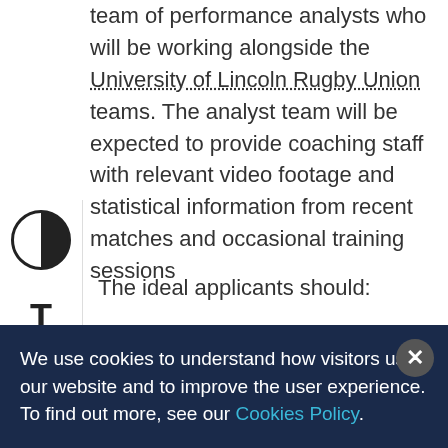team of performance analysts who will be working alongside the University of Lincoln Rugby Union teams. The analyst team will be expected to provide coaching staff with relevant video footage and statistical information from recent matches and occasional training sessions
The ideal applicants should:
– Understand the basic rules of rugby union
– Have an understanding of the role of match and
We use cookies to understand how visitors use our website and to improve the user experience. To find out more, see our Cookies Policy.